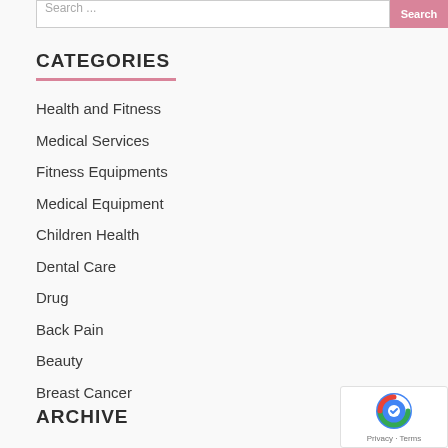Search ...
CATEGORIES
Health and Fitness
Medical Services
Fitness Equipments
Medical Equipment
Children Health
Dental Care
Drug
Back Pain
Beauty
Breast Cancer
ARCHIVE